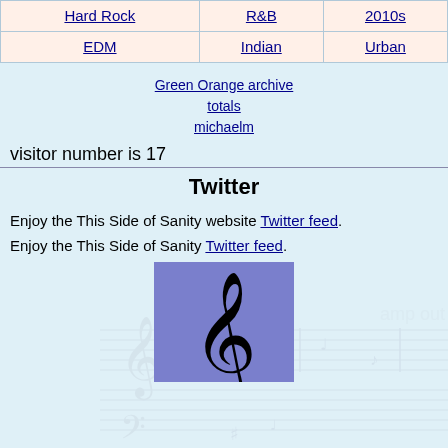| Hard Rock | R&B | 2010s |
| --- | --- | --- |
| EDM | Indian | Urban |
Green Orange archive totals
michaelm
visitor number is 17
Twitter
Enjoy the This Side of Sanity website Twitter feed.
Enjoy the This Side of Sanity Twitter feed.
[Figure (illustration): Purple/blue background square with a black treble clef music symbol]